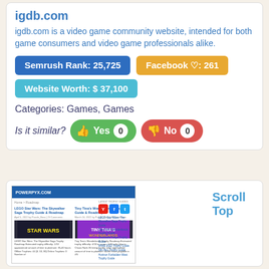igdb.com
igdb.com is a video game community website, intended for both game consumers and video game professionals alike.
Semrush Rank: 25,725
Facebook ♡: 261
Website Worth: $ 37,100
Categories: Games, Games
Is it similar? Yes 0 No 0
[Figure (screenshot): Screenshot of powerpyx.com website showing LEGO Star Wars: The Skywalker Saga Trophy Guide & Roadmap and Tiny Tina's Wonderlands Trophy Guide & Roadmap articles, with social media icons and sidebar links to latest trophy guides.]
Scroll Top